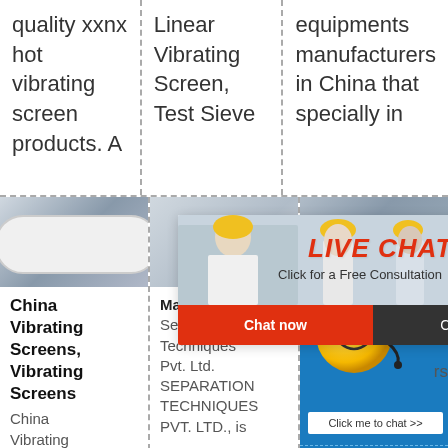quality xxnx hot vibrating screen products. A
Linear Vibrating Screen, Test Sieve
equipments manufacturers in China that specially in
[Figure (photo): Industrial equipment photo strip - left column showing large cylindrical industrial machine]
[Figure (photo): Industrial equipment photo strip - middle column showing equipment in factory setting]
[Figure (photo): Industrial/outdoor photo strip - right column]
[Figure (infographic): Live chat popup overlay with worker/engineer photo, LIVE CHAT heading, Chat now and Chat later buttons]
China Vibrating Screens, Vibrating Screens
China Vibrating Screens manufacturers
Manufacturer
Separation Techniques Pvt. Ltd. SEPARATION TECHNIQUES PVT. LTD., is
[Figure (infographic): Blue sidebar with 7 hours online text, smiley face with headset, Click me to chat >> button, Enquiry section, cywaitml@gmail.com email]
cywaitml@gmail.com